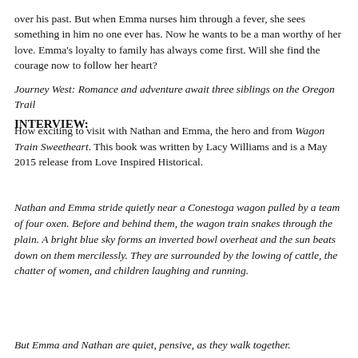over his past. But when Emma nurses him through a fever, she sees something in him no one ever has. Now he wants to be a man worthy of her love. Emma's loyalty to family has always come first. Will she find the courage now to follow her heart?
Journey West: Romance and adventure await three siblings on the Oregon Trail
INTERVIEW:
How exciting to visit with Nathan and Emma, the hero and from Wagon Train Sweetheart. This book was written by Lacy Williams and is a May 2015 release from Love Inspired Historical.
Nathan and Emma stride quietly near a Conestoga wagon pulled by a team of four oxen. Before and behind them, the wagon train snakes through the plain. A bright blue sky forms an inverted bowl overheat and the sun beats down on them mercilessly. They are surrounded by the lowing of cattle, the chatter of women, and children laughing and running.
But Emma and Nathan are quiet, pensive, as they walk together.